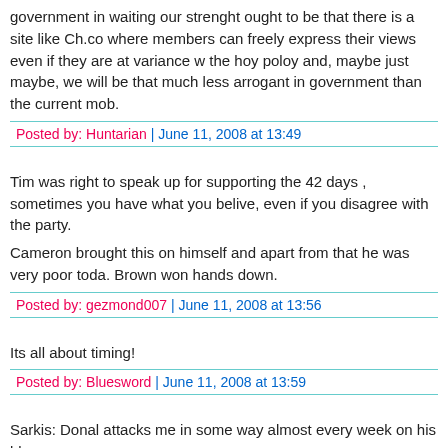government in waiting our strenght ought to be that there is a site like Ch.co where members can freely express their views even if they are at variance with the hoy poloy and, maybe just maybe, we will be that much less arrogant in government than the current mob.
Posted by: Huntarian | June 11, 2008 at 13:49
Tim was right to speak up for supporting the 42 days , sometimes you have what you belive, even if you disagree with the party.
Cameron brought this on himself and apart from that he was very poor toda. Brown won hands down.
Posted by: gezmond007 | June 11, 2008 at 13:56
Its all about timing!
Posted by: Bluesword | June 11, 2008 at 13:59
Sarkis: Donal attacks me in some way almost every week on his blog.
Posted by: Editor | June 11, 2008 at 13:40